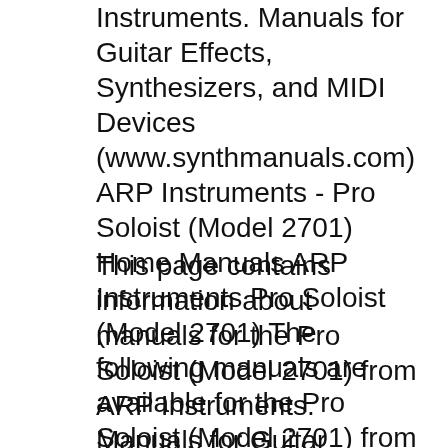Instruments. Manuals for Guitar Effects, Synthesizers, and MIDI Devices (www.synthmanuals.com) ARP Instruments - Pro Soloist (Model 2701) Home Manuals ARP Instruments Pro Soloist (Model 2701) The following manuals are available for the Pro Soloist (Model 2701) from ARP Instruments: Service Manual: Click вЂ¦
This page contains information about manuals for the Pro Soloist (Model 2701) from ARP Instruments. Manuals for Guitar Effects, Synthesizers, and MIDI Devices (www.synthmanuals.com) ARP Instruments - Pro Soloist (Model 2701) Home Manuals ARP Instruments Pro Soloist (Model 2701) The following manuals are available for the Pro Soloist (Model 2701) from ARP Instruments Pro Soloist (Model 2701) The following